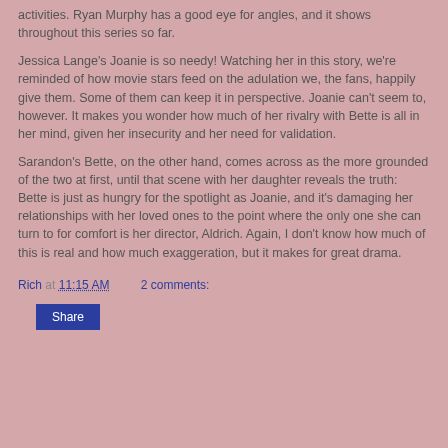activities. Ryan Murphy has a good eye for angles, and it shows throughout this series so far.
Jessica Lange's Joanie is so needy! Watching her in this story, we're reminded of how movie stars feed on the adulation we, the fans, happily give them. Some of them can keep it in perspective. Joanie can't seem to, however. It makes you wonder how much of her rivalry with Bette is all in her mind, given her insecurity and her need for validation.
Sarandon's Bette, on the other hand, comes across as the more grounded of the two at first, until that scene with her daughter reveals the truth: Bette is just as hungry for the spotlight as Joanie, and it's damaging her relationships with her loved ones to the point where the only one she can turn to for comfort is her director, Aldrich. Again, I don't know how much of this is real and how much exaggeration, but it makes for great drama.
Rich at 11:15 AM    2 comments:
Share